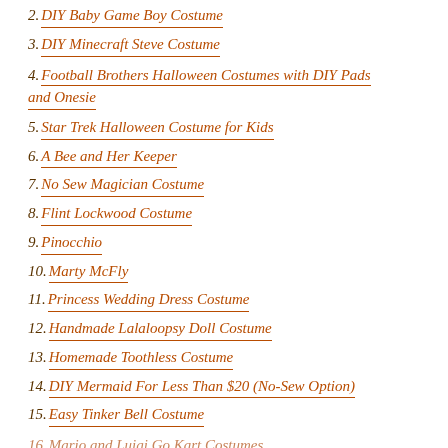2. DIY Baby Game Boy Costume
3. DIY Minecraft Steve Costume
4. Football Brothers Halloween Costumes with DIY Pads and Onesie
5. Star Trek Halloween Costume for Kids
6. A Bee and Her Keeper
7. No Sew Magician Costume
8. Flint Lockwood Costume
9. Pinocchio
10. Marty McFly
11. Princess Wedding Dress Costume
12. Handmade Lalaloopsy Doll Costume
13. Homemade Toothless Costume
14. DIY Mermaid For Less Than $20 (No-Sew Option)
15. Easy Tinker Bell Costume
16. Mario and Luigi Go Kart Costumes
17. Deer/The Bounty Hunter and...